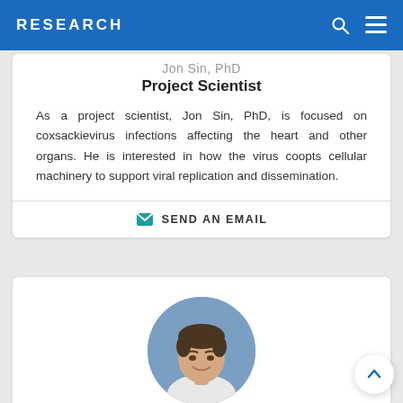RESEARCH
Jon Sin, PhD
Project Scientist
As a project scientist, Jon Sin, PhD, is focused on coxsackievirus infections affecting the heart and other organs. He is interested in how the virus coopts cellular machinery to support viral replication and dissemination.
SEND AN EMAIL
[Figure (photo): Circular portrait photo of David Taylor, PhD, a young man with dark hair, smiling, in front of a blue background]
David Taylor, PhD
Project Scientist